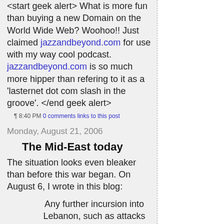<start geek alert> What is more fun than buying a new Domain on the World Wide Web? Woohoo!! Just claimed jazzandbeyond.com for use with my way cool podcast. jazzandbeyond.com is so much more hipper than refering to it as a 'lasternet dot com slash in the groove'. </end geek alert>
¶ 8:40 PM 0 comments links to this post
Monday, August 21, 2006
The Mid-East today
The situation looks even bleaker than before this war began. On August 6, I wrote in this blog:
Any further incursion into Lebanon, such as attacks on Beirut, or